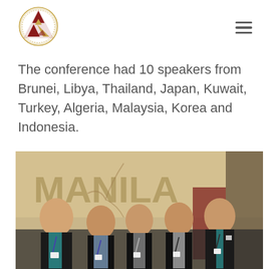Logo and navigation
The conference had 10 speakers from Brunei, Libya, Thailand, Japan, Kuwait, Turkey, Algeria, Malaysia, Korea and Indonesia.
[Figure (photo): Five young people in formal attire (black suits) standing together in front of a wall with the word MANILA, smiling at the camera. They are wearing lanyards with name badges.]